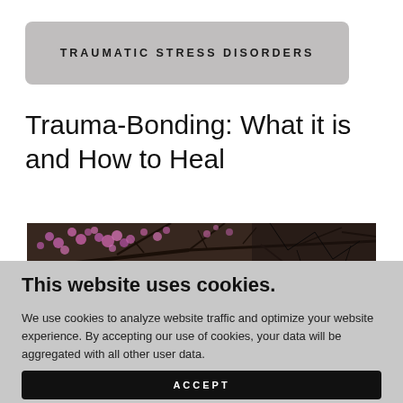TRAUMATIC STRESS DISORDERS
Trauma-Bonding: What it is and How to Heal
[Figure (photo): Photo of dark branches with pink/purple blossoms against a dark background]
This website uses cookies.
We use cookies to analyze website traffic and optimize your website experience. By accepting our use of cookies, your data will be aggregated with all other user data.
ACCEPT